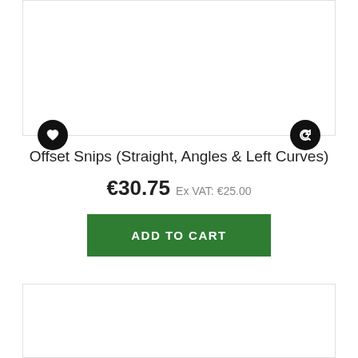[Figure (other): Product image card top (white rectangular area with heart/wishlist icon on lower-left and refresh/compare icon on lower-right)]
Offset Snips (Straight, Angles & Left Curves)
€30.75 Ex VAT: €25.00
ADD TO CART
[Figure (other): Product image card bottom (white rectangular area, partially visible)]